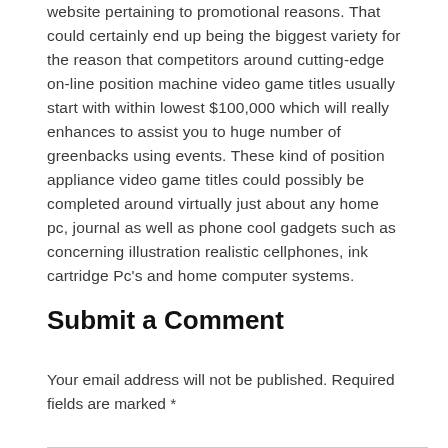website pertaining to promotional reasons. That could certainly end up being the biggest variety for the reason that competitors around cutting-edge on-line position machine video game titles usually start with within lowest $100,000 which will really enhances to assist you to huge number of greenbacks using events. These kind of position appliance video game titles could possibly be completed around virtually just about any home pc, journal as well as phone cool gadgets such as concerning illustration realistic cellphones, ink cartridge Pc's and home computer systems.
Submit a Comment
Your email address will not be published. Required fields are marked *